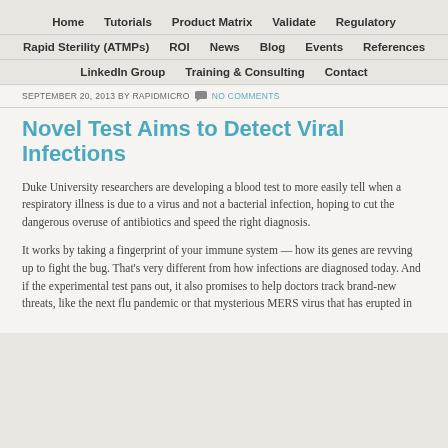Home   Tutorials   Product Matrix   Validate   Regulatory   Rapid Sterility (ATMPs)   ROI   News   Blog   Events   References   LinkedIn Group   Training & Consulting   Contact
SEPTEMBER 20, 2013 BY RAPIDMICRO   NO COMMENTS
Novel Test Aims to Detect Viral Infections
Duke University researchers are developing a blood test to more easily tell when a respiratory illness is due to a virus and not a bacterial infection, hoping to cut the dangerous overuse of antibiotics and speed the right diagnosis.
It works by taking a fingerprint of your immune system — how its genes are revving up to fight the bug. That's very different from how infections are diagnosed today. And if the experimental test pans out, it also promises to help doctors track brand-new threats, like the next flu pandemic or that mysterious MERS virus that has erupted in